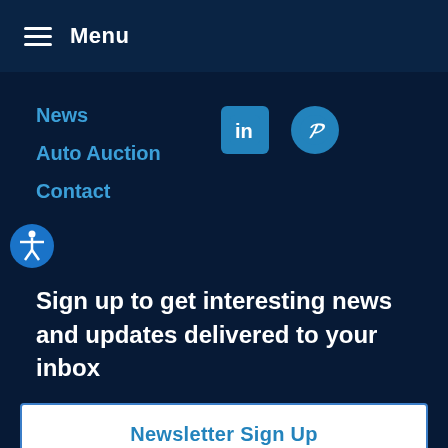Menu
News
Auto Auction
Contact
[Figure (logo): LinkedIn and Pinterest social media icons]
[Figure (infographic): Accessibility icon - person with arms outstretched in blue circle]
Sign up to get interesting news and updates delivered to your inbox
Newsletter Sign Up